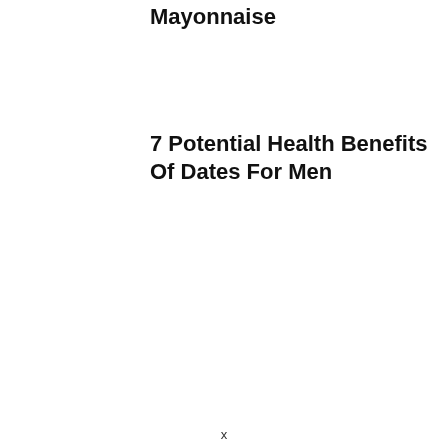Mayonnaise
7 Potential Health Benefits Of Dates For Men
x